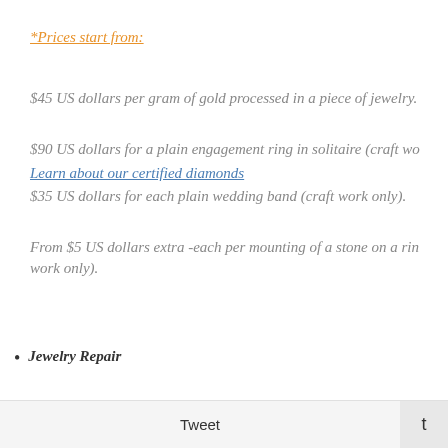*Prices start from:
$45 US dollars per gram of gold processed in a piece of jewelry.
$90 US dollars for a plain engagement ring in solitaire (craft work only).
Learn about our certified diamonds
$35 US dollars for each plain wedding band (craft work only).
From $5 US dollars extra -each per mounting of a stone on a ring (craft work only).
Jewelry Repair
Tweet   t